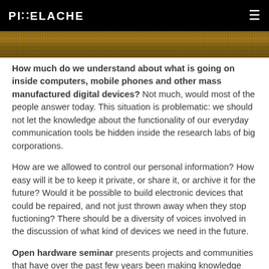PIXELACHE
[Figure (photo): A strip of a brown/earthy textured surface, possibly rock or wood grain]
How much do we understand about what is going on inside computers, mobile phones and other mass manufactured digital devices? Not much, would most of the people answer today. This situation is problematic: we should not let the knowledge about the functionality of our everyday communication tools be hidden inside the research labs of big corporations.
How are we allowed to control our personal information? How easy will it be to keep it private, or share it, or archive it for the future? Would it be possible to build electronic devices that could be repaired, and not just thrown away when they stop fuctioning? There should be a diversity of voices involved in the discussion of what kind of devices we need in the future.
Open hardware seminar presents projects and communities that have over the past few years been making knowledge